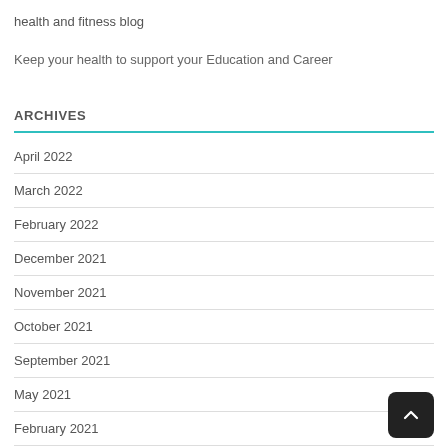health and fitness blog
Keep your health to support your Education and Career
ARCHIVES
April 2022
March 2022
February 2022
December 2021
November 2021
October 2021
September 2021
May 2021
February 2021
January 2021